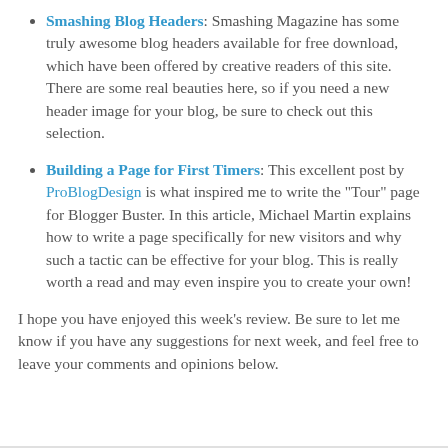Smashing Blog Headers: Smashing Magazine has some truly awesome blog headers available for free download, which have been offered by creative readers of this site. There are some real beauties here, so if you need a new header image for your blog, be sure to check out this selection.
Building a Page for First Timers: This excellent post by ProBlogDesign is what inspired me to write the "Tour" page for Blogger Buster. In this article, Michael Martin explains how to write a page specifically for new visitors and why such a tactic can be effective for your blog. This is really worth a read and may even inspire you to create your own!
I hope you have enjoyed this week's review. Be sure to let me know if you have any suggestions for next week, and feel free to leave your comments and opinions below.